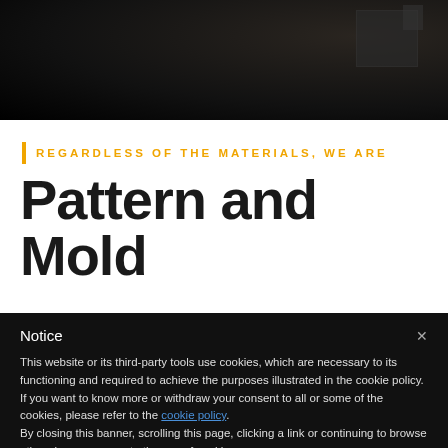[Figure (photo): Dark hero image background, industrial/manufacturing setting with dark tones]
REGARDLESS OF THE MATERIALS, WE ARE
Pattern and Mold
Notice
This website or its third-party tools use cookies, which are necessary to its functioning and required to achieve the purposes illustrated in the cookie policy. If you want to know more or withdraw your consent to all or some of the cookies, please refer to the cookie policy. By closing this banner, scrolling this page, clicking a link or continuing to browse otherwise, you agree to the use of cookies.